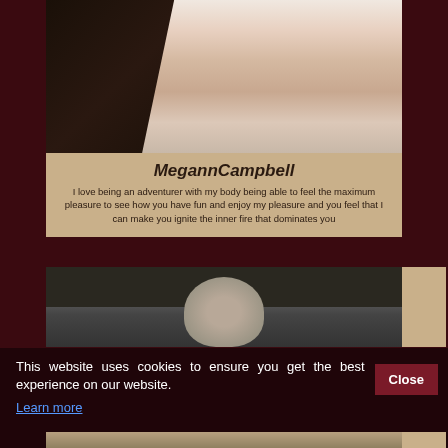[Figure (photo): Profile photo of MegannCampbell, dark-haired woman in white top posing against bright window background]
MegannCampbell
I love being an adventurer with my body being able to feel the maximum pleasure to see how you have fun and enjoy my pleasure and you feel that I can make you ignite the inner fire that dominates you
[Figure (photo): Partial photo of another person with dark upswept hair against grey background]
This website uses cookies to ensure you get the best experience on our website. Learn more
[Figure (photo): Partial photo at bottom, partially visible]